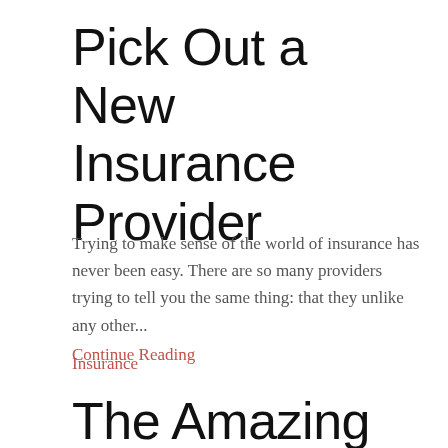Pick Out a New Insurance Provider
Trying to make sense of the world of insurance has never been easy. There are so many providers trying to tell you the same thing: that they unlike any other...
Continue Reading
Insurance
The Amazing Power of